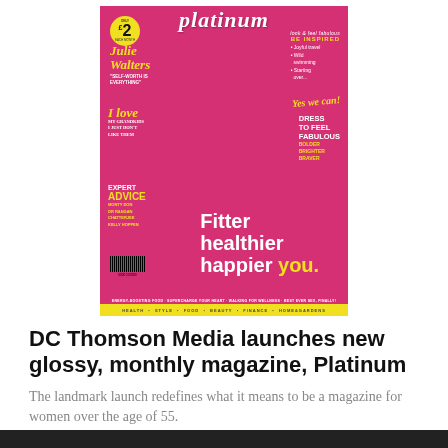[Figure (photo): Magazine cover of 'Platinum' magazine featuring Julie Walters on the cover with a pink/magenta background. Cover lines include 'Fitter healthier happier you', 'I love my grandkids I just don't like them', 'Expert Advice', 'Dress to Feel Fabulous', 'Be Inspired', 'Joyful travel', 'Wild swimming', 'Starting over... Yes we can!', price £2. Bottom strip: Health, Style, Food, Beauty, Finance, Home & Gardens.]
DC Thomson Media launches new glossy, monthly magazine, Platinum
The landmark launch redefines what it means to be a magazine for women over the age of 55.